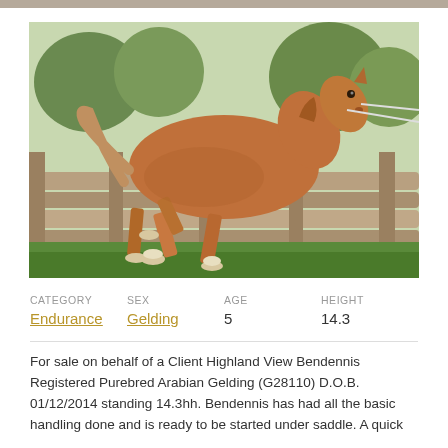[Figure (photo): A chestnut Arabian gelding trotting along a wooden fence rail, photographed outdoors on grass with trees in the background.]
| CATEGORY | SEX | AGE | HEIGHT |
| --- | --- | --- | --- |
| Endurance | Gelding | 5 | 14.3 |
For sale on behalf of a Client Highland View Bendennis Registered Purebred Arabian Gelding (G28110) D.O.B. 01/12/2014 standing 14.3hh. Bendennis has had all the basic handling done and is ready to be started under saddle. A quick